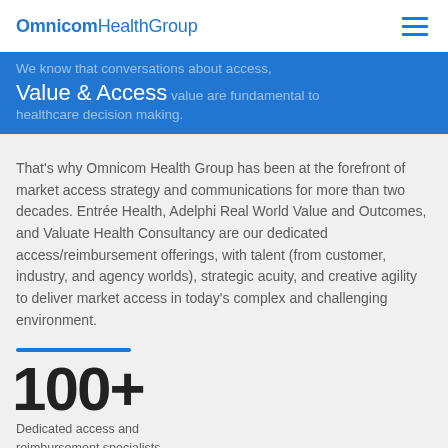OmnicomHealthGroup
Value & Access
We know that conversations about access, value are fundamental to healthcare decision making. That's why Omnicom Health Group has been at the forefront of market access strategy and communications for more than two decades. Entrée Health, Adelphi Real World Value and Outcomes, and Valuate Health Consultancy are our dedicated access/reimbursement offerings, with talent (from customer, industry, and agency worlds), strategic acuity, and creative agility to deliver market access in today's complex and challenging environment.
100+
Dedicated access and reimbursement specialists